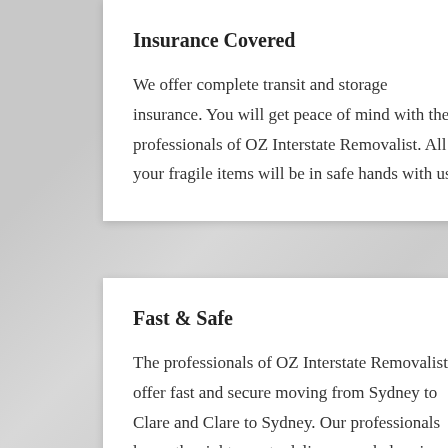Insurance Covered
We offer complete transit and storage insurance. You will get peace of mind with the professionals of OZ Interstate Removalist. All your fragile items will be in safe hands with us.
Fast & Safe
The professionals of OZ Interstate Removalists offer fast and secure moving from Sydney to Clare and Clare to Sydney. Our professionals know the right way to deliver your belongings to the destination address.